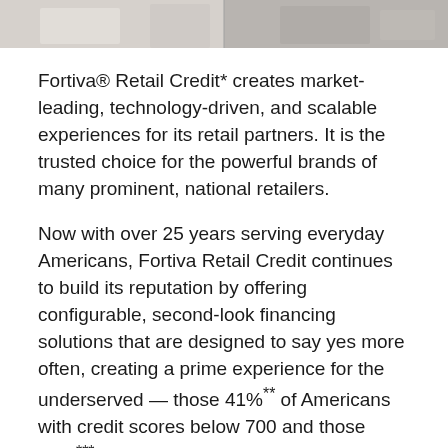[Figure (photo): Partial photo strip at top of page showing people, cropped and partially visible]
Fortiva® Retail Credit* creates market-leading, technology-driven, and scalable experiences for its retail partners. It is the trusted choice for the powerful brands of many prominent, national retailers.
Now with over 25 years serving everyday Americans, Fortiva Retail Credit continues to build its reputation by offering configurable, second-look financing solutions that are designed to say yes more often, creating a prime experience for the underserved — those 41%** of Americans with credit scores below 700 and those 63%*** who live paycheck-to-paycheck.
Fortiva Retail Credit helps retailers empower these consumers with robust solutions such as private label credit cards, general purpose credit cards or installment loans. With these finance tools, credit obstacles are removed, and new doors are opened for a significant...